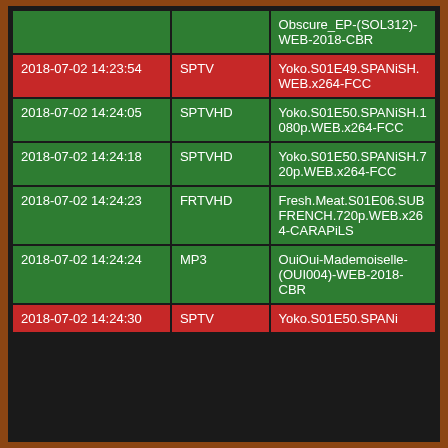| Date/Time | Source | Title |
| --- | --- | --- |
|  |  | Obscure_EP-(SOL312)-WEB-2018-CBR |
| 2018-07-02 14:23:54 | SPTV | Yoko.S01E49.SPANiSH.WEB.x264-FCC |
| 2018-07-02 14:24:05 | SPTVHD | Yoko.S01E50.SPANiSH.1080p.WEB.x264-FCC |
| 2018-07-02 14:24:18 | SPTVHD | Yoko.S01E50.SPANiSH.720p.WEB.x264-FCC |
| 2018-07-02 14:24:23 | FRTVHD | Fresh.Meat.S01E06.SUBFRENCH.720p.WEB.x264-CARAPiLS |
| 2018-07-02 14:24:24 | MP3 | OuiOui-Mademoiselle-(OUI004)-WEB-2018-CBR |
| 2018-07-02 14:24:30 | SPTV | Yoko.S01E50.SPANi |